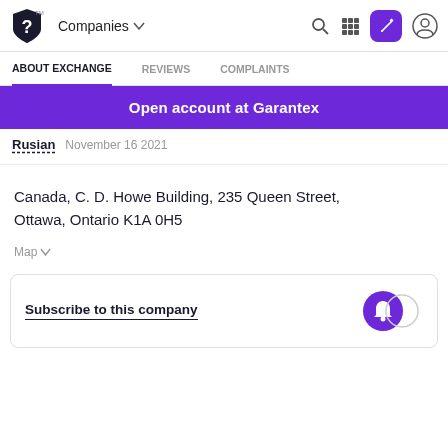Companies
ABOUT EXCHANGE   REVIEWS   COMPLAINTS
Open account at Garantex
Rusian   November 16 2021
Canada, C. D. Howe Building, 235 Queen Street, Ottawa, Ontario K1A 0H5
Map
Subscribe to this company